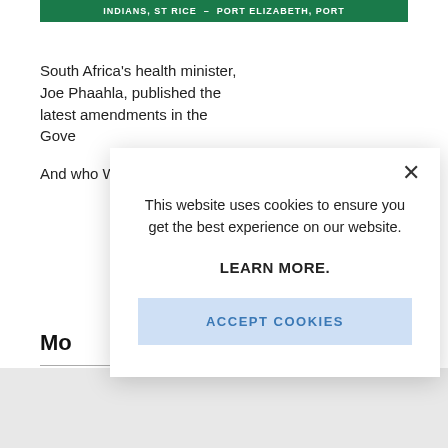[Figure (screenshot): Green banner header with white uppercase text reading 'INDIANS, ST RICE - PORT ELIZABETH, PORT']
South Africa's health minister, Joe Phaahla, published the latest amendments in the Gove
And who Wale also
Mo
This website uses cookies to ensure you get the best experience on our website.
LEARN MORE.
ACCEPT COOKIES